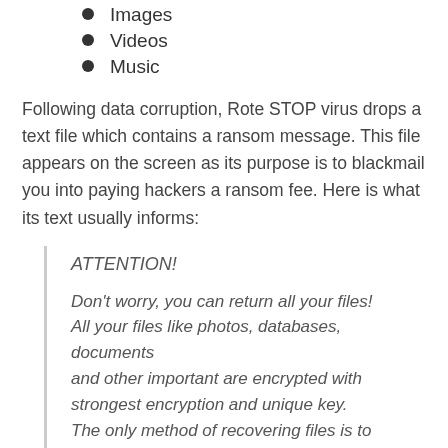Images
Videos
Music
Following data corruption, Rote STOP virus drops a text file which contains a ransom message. This file appears on the screen as its purpose is to blackmail you into paying hackers a ransom fee. Here is what its text usually informs:
ATTENTION!

Don't worry, you can return all your files!
All your files like photos, databases, documents and other important are encrypted with strongest encryption and unique key.
The only method of recovering files is to purchase decrypt tool and unique key for you.
This software will decrypt all your encrypted files.